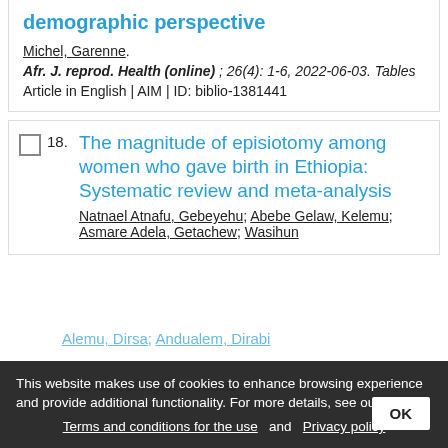demographic perspective
Michel, Garenne.
Afr. J. reprod. Health (online) ; 26(4): 1-6, 2022-06-03. Tables
Article in English | AIM | ID: biblio-1381441
18. The magnitude of episiotomy among women who gave birth in Ethiopia: Systematic review and meta-analysis
Natnael Atnafu, Gebeyehu; Abebe Gelaw, Kelemu; Asmare Adela, Getachew; Wasihun
This website makes use of cookies to enhance browsing experience and provide additional functionality. For more details, see ours: Terms and conditions for the use and Privacy policy